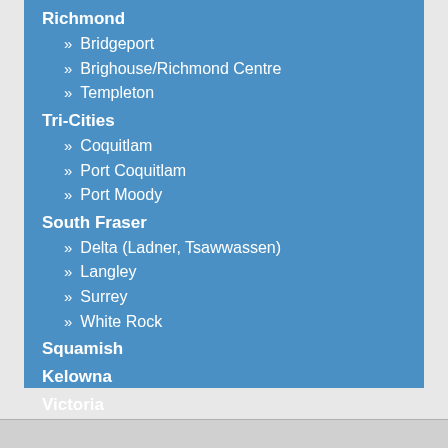Richmond
» Bridgeport
» Brighouse/Richmond Centre
» Templeton
Tri-Cities
» Coquitlam
» Port Coquitlam
» Port Moody
South Fraser
» Delta (Ladner, Tsawwassen)
» Langley
» Surrey
» White Rock
Squamish
Kelowna
Victoria